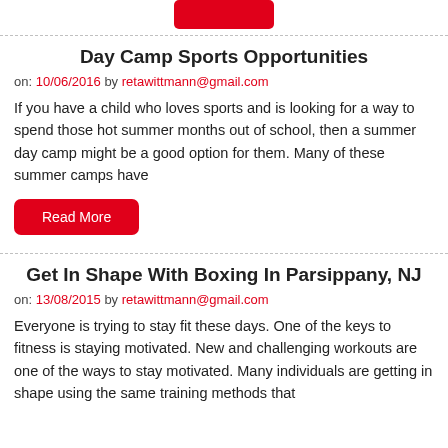[Figure (other): Red button at top of page (partial, cropped)]
Day Camp Sports Opportunities
on: 10/06/2016 by retawittmann@gmail.com
If you have a child who loves sports and is looking for a way to spend those hot summer months out of school, then a summer day camp might be a good option for them. Many of these summer camps have
[Figure (other): Red 'Read More' button]
Get In Shape With Boxing In Parsippany, NJ
on: 13/08/2015 by retawittmann@gmail.com
Everyone is trying to stay fit these days. One of the keys to fitness is staying motivated. New and challenging workouts are one of the ways to stay motivated. Many individuals are getting in shape using the same training methods that